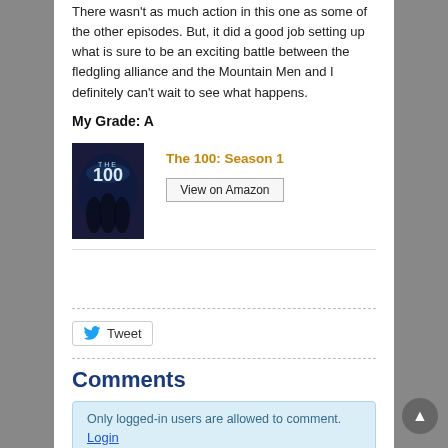There wasn't as much action in this one as some of the other episodes. But, it did a good job setting up what is sure to be an exciting battle between the fledgling alliance and the Mountain Men and I definitely can't wait to see what happens.
My Grade: A
[Figure (illustration): The 100 Season 1 DVD/Blu-ray cover art showing dark sci-fi imagery with the show title '100']
The 100: Season 1
View on Amazon
Tweet
Comments
Only logged-in users are allowed to comment. Login